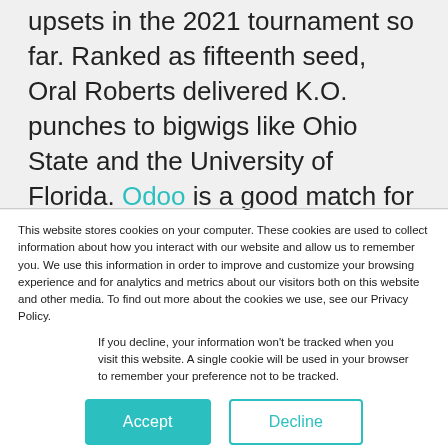upsets in the 2021 tournament so far. Ranked as fifteenth seed, Oral Roberts delivered K.O. punches to bigwigs like Ohio State and the University of Florida. Odoo is a good match for this Tulsa-based private university. Odoo is still relatively new in the ERP scene, bringing a new level of innovation with its open-source code. At this point, it's unclear if Odoo
This website stores cookies on your computer. These cookies are used to collect information about how you interact with our website and allow us to remember you. We use this information in order to improve and customize your browsing experience and for analytics and metrics about our visitors both on this website and other media. To find out more about the cookies we use, see our Privacy Policy.
If you decline, your information won't be tracked when you visit this website. A single cookie will be used in your browser to remember your preference not to be tracked.